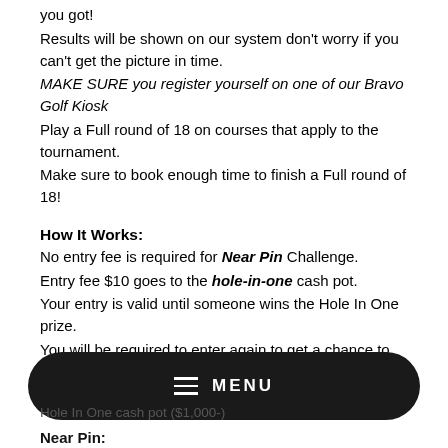you got!
Results will be shown on our system don't worry if you can't get the picture in time.
MAKE SURE you register yourself on one of our Bravo Golf Kiosk
Play a Full round of 18 on courses that apply to the tournament.
Make sure to book enough time to finish a Full round of 18!
How It Works:
No entry fee is required for Near Pin Challenge.
Entry fee $10 goes to the hole-in-one cash pot.
Your entry is valid until someone wins the Hole In One prize.
You will be required to enter again to get a chance to become the next WINNER.
[Figure (other): Black rounded rectangle navigation menu bar with hamburger icon and MENU text in white]
Hole In One cash pot ($1,000-)
Near Pin: